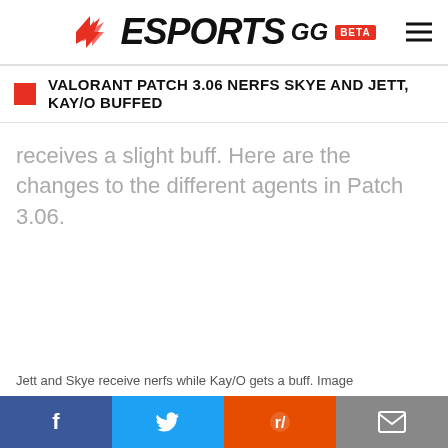ESPORTS.GG BETA
VALORANT PATCH 3.06 NERFS SKYE AND JETT, KAY/O BUFFED
receives a slight buff. Here are the changes to the different agents in Patch 3.06.
Jett and Skye receive nerfs while Kay/O gets a buff. Image
Facebook Twitter Reddit Email